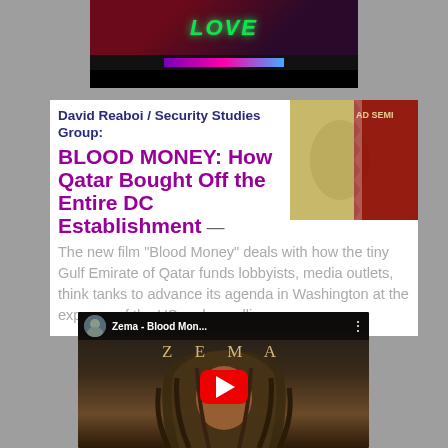[Figure (screenshot): Top video thumbnail block with neon green text on dark red/purple background with a neon bar]
[Figure (screenshot): Article card with headline 'BLOOD MONEY: How Qatar Bought Off the Entire DC Establishment' by David Reaboi / Security Studies Group, with a thumbnail showing a dollar bill with Qatar flag overlay]
BLOOD MONEY: How Qatar Bought Off the Entire DC Establishment
David Reaboi / Security Studies Group:
The new film “Blood Money” deals with how the tiny Gulf Emirate of Qatar funds lobbyists, media outlets, think tanks to advance its agenda in Washington at the expense of the US and our allies.
[Figure (screenshot): YouTube video embed showing 'Zema - Blood Mon...' with a play button overlay and person with dreadlocks in background]